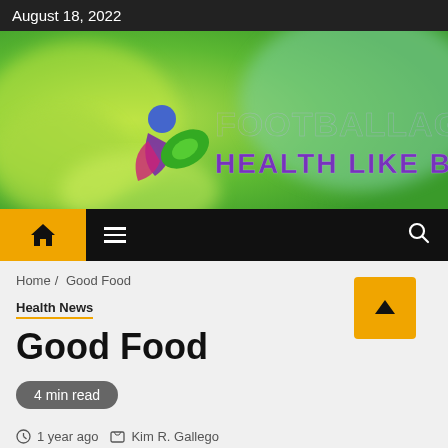August 18, 2022
[Figure (logo): Football Agency – Health Like Business website banner with green leafy background and stylized logo]
[Figure (screenshot): Navigation bar with orange home button, hamburger menu, and search icon]
Home / Good Food
Health News
Good Food
4 min read
1 year ago   Kim R. Gallego